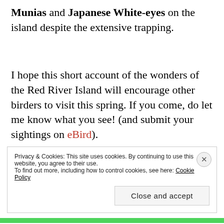Munias and Japanese White-eyes on the island despite the extensive trapping.
I hope this short account of the wonders of the Red River Island will encourage other birders to visit this spring. If you come, do let me know what you see! (and submit your sightings on eBird).
Privacy & Cookies: This site uses cookies. By continuing to use this website, you agree to their use. To find out more, including how to control cookies, see here: Cookie Policy